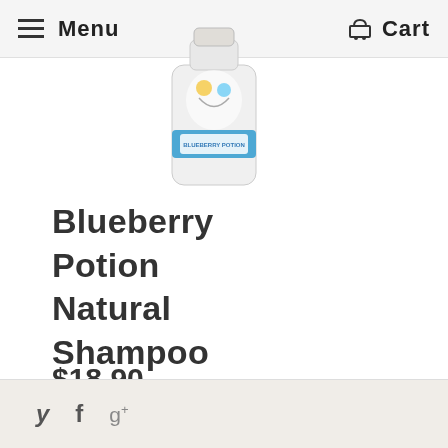Menu  Cart
[Figure (photo): A bottle of Blueberry Potion Natural Shampoo with illustrated characters on a white background and a blue label band]
Blueberry Potion Natural Shampoo
$18.90
y  f  g+